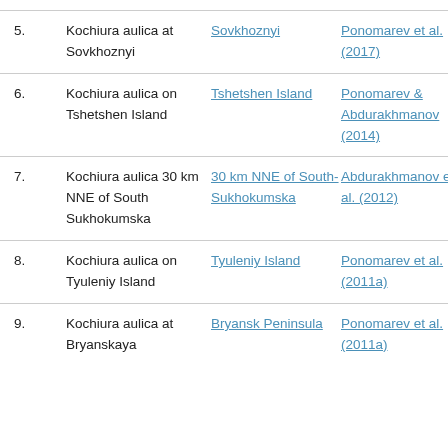Kochiura aulica at Terekli-Mekteb | Mekteb | Ponomarev et al. (2019)
5. Kochiura aulica at Sovkhoznyi | Sovkhoznyi | Ponomarev et al. (2017)
6. Kochiura aulica on Tshetshen Island | Tshetshen Island | Ponomarev & Abdurakhmanov (2014)
7. Kochiura aulica 30 km NNE of South Sukhokumska | 30 km NNE of South-Sukhokumska | Abdurakhmanov et al. (2012)
8. Kochiura aulica on Tyuleniy Island | Tyuleniy Island | Ponomarev et al. (2011a)
9. Kochiura aulica at Bryanskaya | Bryansk Peninsula | Ponomarev et al. (2011a)